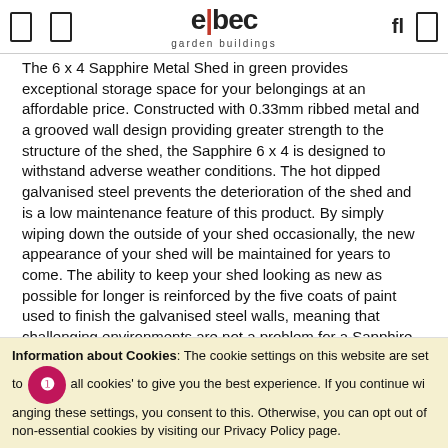elbec garden buildings
The 6 x 4 Sapphire Metal Shed in green provides exceptional storage space for your belongings at an affordable price. Constructed with 0.33mm ribbed metal and a grooved wall design providing greater strength to the structure of the shed, the Sapphire 6 x 4 is designed to withstand adverse weather conditions. The hot dipped galvanised steel prevents the deterioration of the shed and is a low maintenance feature of this product. By simply wiping down the outside of your shed occasionally, the new appearance of your shed will be maintained for years to come. The ability to keep your shed looking as new as possible for longer is reinforced by the five coats of paint used to finish the galvanised steel walls, meaning that challenging environments are not a problem for a Sapphire  metal shed. This shed also comes with a 15 year manufacturer's warranty, allowing you to rest assured that you are getting a high quality shed that will last.
Information about Cookies: The cookie settings on this website are set to 'allow all cookies' to give you the best experience. If you continue without changing these settings, you consent to this. Otherwise, you can opt out of non-essential cookies by visiting our Privacy Policy page.